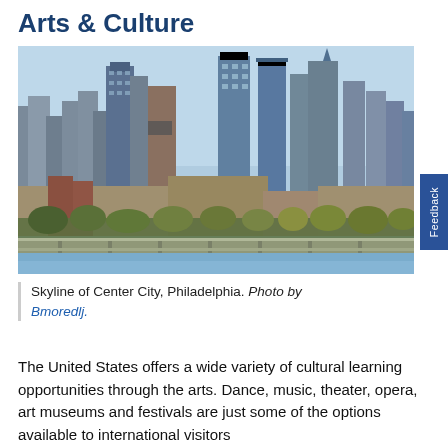Arts & Culture
[Figure (photo): Skyline of Center City, Philadelphia photographed from across the water, showing tall skyscrapers and foreground with trees and a pier/bridge structure.]
Skyline of Center City, Philadelphia. Photo by Bmoredlj.
The United States offers a wide variety of cultural learning opportunities through the arts. Dance, music, theater, opera, art museums and festivals are just some of the options available to international visitors